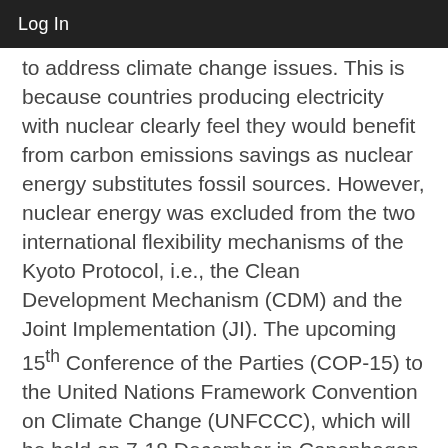Log In
to address climate change issues. This is because countries producing electricity with nuclear clearly feel they would benefit from carbon emissions savings as nuclear energy substitutes fossil sources. However, nuclear energy was excluded from the two international flexibility mechanisms of the Kyoto Protocol, i.e., the Clean Development Mechanism (CDM) and the Joint Implementation (JI). The upcoming 15th Conference of the Parties (COP-15) to the United Nations Framework Convention on Climate Change (UNFCCC), which will be held on 7-18 December in Copenhagen, will have to discuss in particular the post-Kyoto design of the CDM. This mechanism allows developing countries to receive the benefits for greenhouse gas reductions they achieve on behalf of…